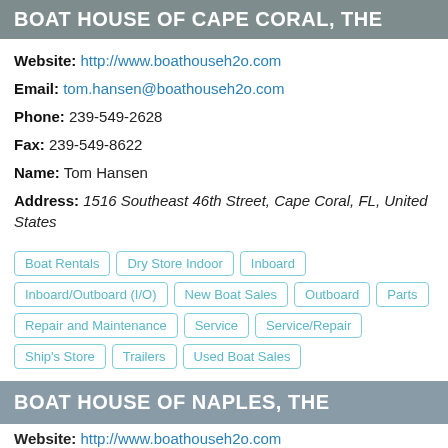BOAT HOUSE OF CAPE CORAL, THE
Website: http://www.boathouseh2o.com
Email: tom.hansen@boathouseh2o.com
Phone: 239-549-2628
Fax: 239-549-8622
Name: Tom Hansen
Address: 1516 Southeast 46th Street, Cape Coral, FL, United States
Boat Rentals
Dry Store Indoor
Inboard
Inboard/Outboard (I/O)
New Boat Sales
Outboard
Parts
Repair and Maintenance
Service
Service/Repair
Ship's Store
Trailers
Used Boat Sales
BOAT HOUSE OF NAPLES, THE
Website: http://www.boathouseh2o.com